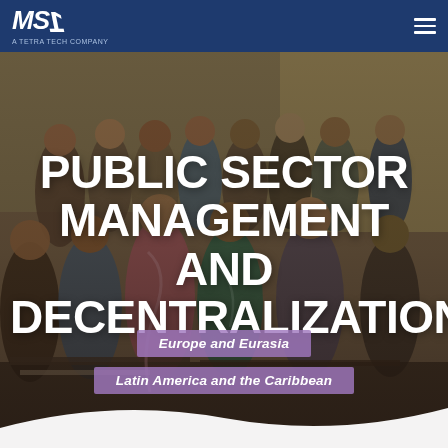MSI — A TETRA TECH COMPANY
[Figure (photo): Group of people gathered outdoors, appearing to be in South Asia, engaged in a community activity or distribution event. The scene is overlaid with a dark semi-transparent filter.]
PUBLIC SECTOR MANAGEMENT AND DECENTRALIZATION
Europe and Eurasia
Latin America and the Caribbean